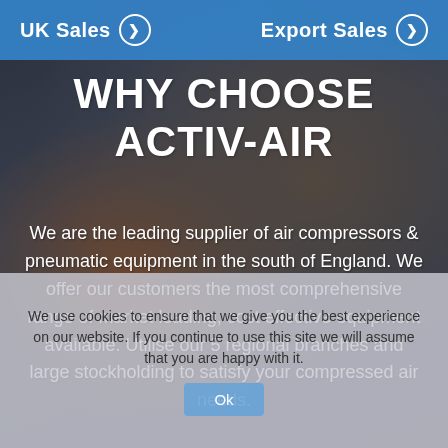[Figure (photo): Background photo of a person working with pneumatic/air compressor equipment, dark-toned industrial setting]
UK Sales ❯   Export Sales ❯
WHY CHOOSE ACTIV-AIR
We are the leading supplier of air compressors & pneumatic equipment in the south of England. We offer our customers the most comprehensive range of market leading, cost effective equipment available. Utilise our 5 regional branches and large stockholding to satisfy your compressed air needs.
We use cookies to ensure that we give you the best experience on our website. If you continue to use this site we will assume that you are happy with it. Ok